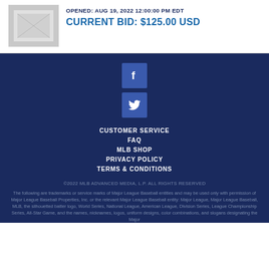[Figure (photo): Item thumbnail image showing what appears to be a folded fabric or document]
OPENED: AUG 19, 2022 12:00:00 PM EDT
CURRENT BID: $125.00 USD
[Figure (logo): Facebook social media icon - white 'f' on blue square background]
[Figure (logo): Twitter social media icon - white bird on blue square background]
CUSTOMER SERVICE
FAQ
MLB SHOP
PRIVACY POLICY
TERMS & CONDITIONS
©2022 MLB ADVANCED MEDIA, L.P. ALL RIGHTS RESERVED
The following are trademarks or service marks of Major League Baseball entities and may be used only with permission of Major League Baseball Properties, Inc. or the relevant Major League Baseball entity: Major League, Major League Baseball, MLB, the silhouetted batter logo, World Series, National League, American League, Division Series, League Championship Series, All-Star Game, and the names, nicknames, logos, uniform designs, color combinations, and slogans designating the Major